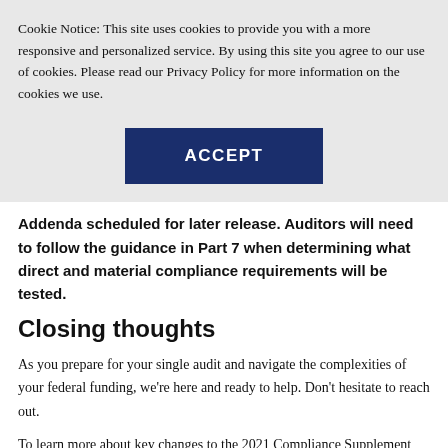Cookie Notice: This site uses cookies to provide you with a more responsive and personalized service. By using this site you agree to our use of cookies. Please read our Privacy Policy for more information on the cookies we use.
[Figure (other): ACCEPT button — dark navy blue rectangle with white bold uppercase text 'ACCEPT']
Addenda scheduled for later release. Auditors will need to follow the guidance in Part 7 when determining what direct and material compliance requirements will be tested.
Closing thoughts
As you prepare for your single audit and navigate the complexities of your federal funding, we're here and ready to help. Don't hesitate to reach out.
To learn more about key changes to the 2021 Compliance Supplement and audit implications, join us on August 24 for our webinar 2021 Compliance Supplement and ...